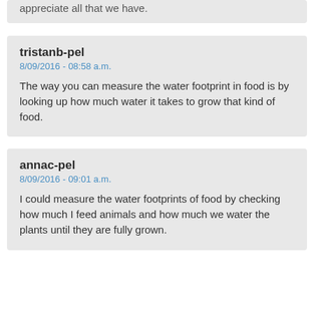appreciate all that we have.
tristanb-pel
8/09/2016 - 08:58 a.m.
The way you can measure the water footprint in food is by looking up how much water it takes to grow that kind of food.
annac-pel
8/09/2016 - 09:01 a.m.
I could measure the water footprints of food by checking how much I feed animals and how much we water the plants until they are fully grown.